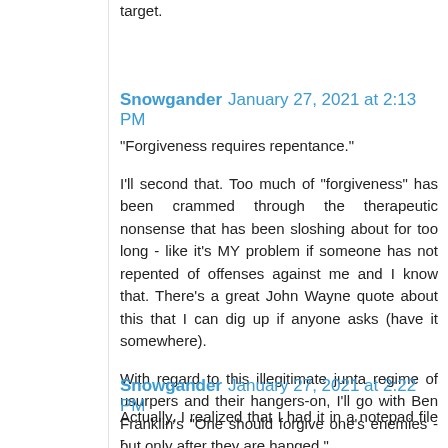target.
Snowgander  January 27, 2021 at 2:13 PM
"Forgiveness requires repentance."

I'll second that. Too much of "forgiveness" has been crammed through the therapeutic nonsense that has been sloshing about for too long - like it's MY problem if someone has not repented of offenses against me and I know that. There's a great John Wayne quote about this that I can dig up if anyone asks (have it somewhere).

With regard to this illegitimate junta regime of usurpers and their hangers-on, I'll go with Ben Franklin's "One should forgive one's enemies - but only after they are hanged."
Snowgander  January 27, 2021 at 2:22 PM
Actually, I realized that I had it in a notepad file -